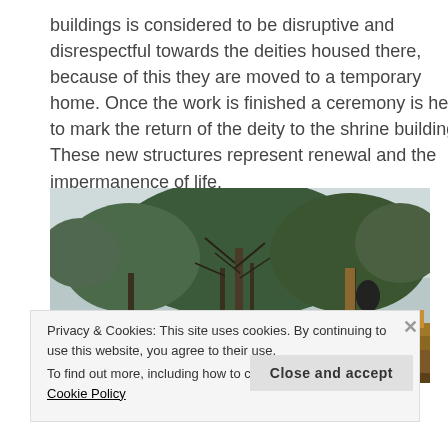buildings is considered to be disruptive and disrespectful towards the deities housed there, because of this they are moved to a temporary home. Once the work is finished a ceremony is held to mark the return of the deity to the shrine building. These new structures represent renewal and the impermanence of life.
[Figure (photo): Photograph of a shrine or temple building with a wooden beam roof structure in the foreground, with large trees visible against a bright sky in the background. The roof has golden/yellow decorative elements along its ridge.]
Privacy & Cookies: This site uses cookies. By continuing to use this website, you agree to their use.
To find out more, including how to control cookies, see here: Cookie Policy